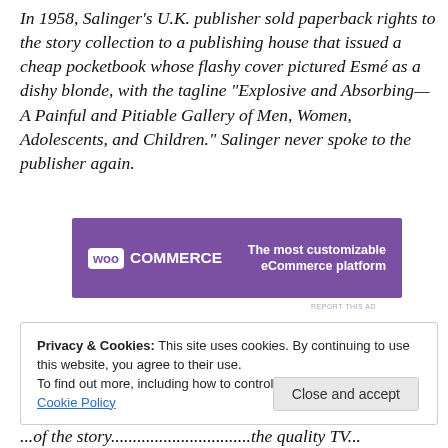In 1958, Salinger's U.K. publisher sold paperback rights to the story collection to a publishing house that issued a cheap pocketbook whose flashy cover pictured Esmé as a dishy blonde, with the tagline “Explosive and Absorbing—A Painful and Pitiable Gallery of Men, Women, Adolescents, and Children.” Salinger never spoke to the publisher again.
[Figure (other): WooCommerce advertisement banner: purple background with WooCommerce logo on left and text 'The most customizable eCommerce platform' on right]
Privacy & Cookies: This site uses cookies. By continuing to use this website, you agree to their use.
To find out more, including how to control cookies, see here: Cookie Policy
Close and accept
...of the story... ...the quality TV...